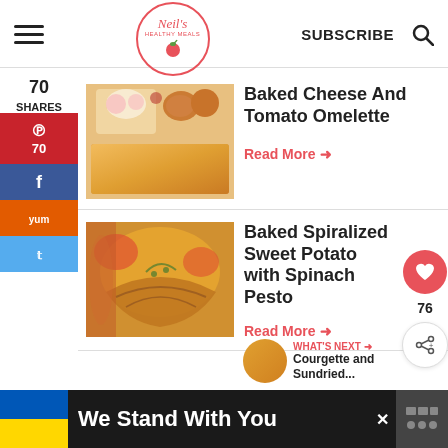Neil's Healthy Meals — SUBSCRIBE
70 SHARES
[Figure (photo): Baked Cheese and Tomato Omelette food photo thumbnail]
Baked Cheese And Tomato Omelette
Read More →
[Figure (photo): Baked Spiralized Sweet Potato with Spinach Pesto food photo thumbnail]
Baked Spiralized Sweet Potato with Spinach Pesto
Read More →
WHAT'S NEXT → Courgette and Sundried...
We Stand With You